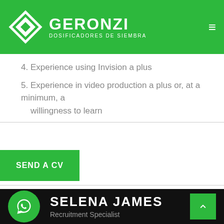[Figure (logo): Geronzi Dosificadores de Siembra logo with diamond G icon on green header bar]
4. Experience using Invision a plus
5. Experience in video production a plus or, at a minimum, a willingness to learn
SEND A CV
SELENA JAMES
Recruitment Specialist